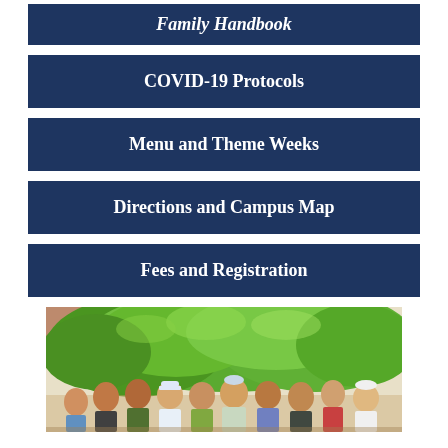Family Handbook
COVID-19 Protocols
Menu and Theme Weeks
Directions and Campus Map
Fees and Registration
[Figure (photo): Group of campers/students standing outdoors under green leafy trees, with a brick building visible in the background.]